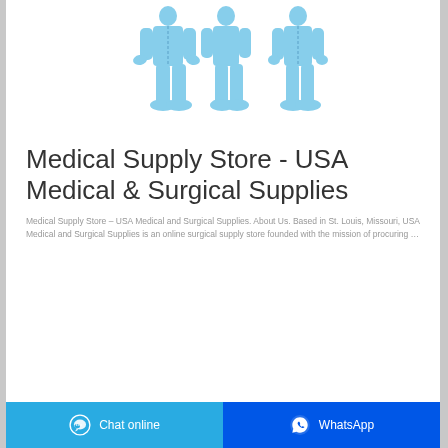[Figure (photo): Three views of a person wearing a blue full-body protective coverall suit with shoe covers]
Medical Supply Store - USA Medical & Surgical Supplies
Medical Supply Store – USA Medical and Surgical Supplies. About Us. Based in St. Louis, Missouri, USA Medical and Surgical Supplies is an online surgical supply store founded with the mission of procuring …
Chat online | WhatsApp